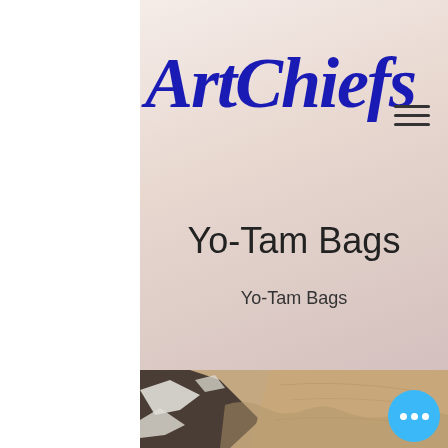[Figure (logo): ArtChiefs logo in dark blue italic script font]
[Figure (other): Hamburger menu icon with three horizontal lines]
Yo-Tam Bags
Yo-Tam Bags
[Figure (photo): Aerial photo of a coastline showing sandy beach and dark rocky or snowy terrain meeting the shore]